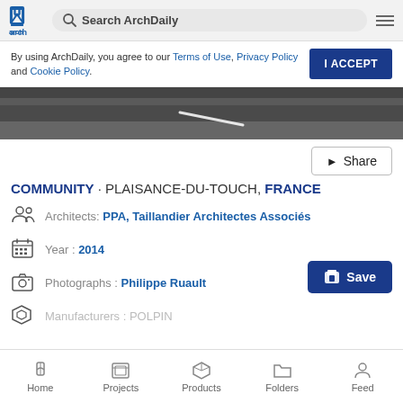ArchDaily — Search ArchDaily
By using ArchDaily, you agree to our Terms of Use, Privacy Policy and Cookie Policy.
[Figure (photo): Aerial or close-up view of a road/pavement surface, dark asphalt with a white diagonal line marking]
Share
COMMUNITY · PLAISANCE-DU-TOUCH, FRANCE
Architects: PPA, Taillandier Architectes Associés
Year: 2014
Photographs: Philippe Ruault
Manufacturers: POLPIN
Home  Projects  Products  Folders  Feed